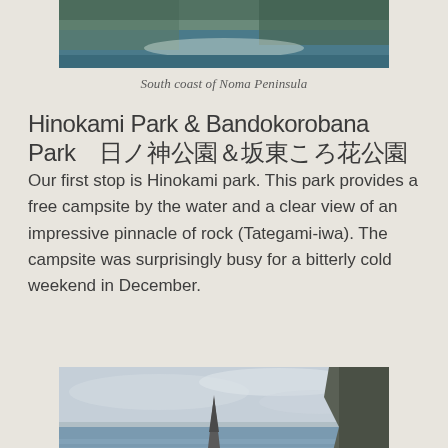[Figure (photo): Coastal scenery of south coast of Noma Peninsula, showing water and rocky shoreline with vegetation]
South coast of Noma Peninsula
Hinokami Park & Bandokorobana Park　日ノ神公園＆坂東ころ花公園
Our first stop is Hinokami park. This park provides a free campsite by the water and a clear view of an impressive pinnacle of rock (Tategami-iwa). The campsite was surprisingly busy for a bitterly cold weekend in December.
[Figure (photo): Tategami-iwa, a tall pinnacle rock formation rising from the sea, with cloudy sky and rocky coastline on the right]